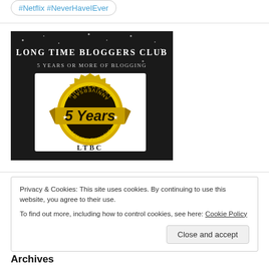#Netflix #NeverHaveIEver
[Figure (photo): Long Time Bloggers Club badge — 5 Years Anniversary gold seal with 'LTBC' text, on dark background with sparkles]
Privacy & Cookies: This site uses cookies. By continuing to use this website, you agree to their use.
To find out more, including how to control cookies, see here: Cookie Policy
Close and accept
Archives